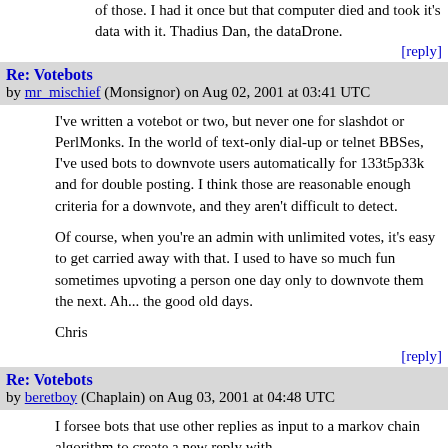of those. I had it once but that computer died and took it's data with it. Thadius Dan, the dataDrone.
[reply]
Re: Votebots
by mr_mischief (Monsignor) on Aug 02, 2001 at 03:41 UTC
I've written a votebot or two, but never one for slashdot or PerlMonks. In the world of text-only dial-up or telnet BBSes, I've used bots to downvote users automatically for 133t5p33k and for double posting. I think those are reasonable enough criteria for a downvote, and they aren't difficult to detect.

Of course, when you're an admin with unlimited votes, it's easy to get carried away with that. I used to have so much fun sometimes upvoting a person one day only to downvote them the next. Ah... the good old days.

Chris
[reply]
Re: Votebots
by beretboy (Chaplain) on Aug 03, 2001 at 04:48 UTC
I forsee bots that use other replies as input to a markov chain algorithm to create a new reply with